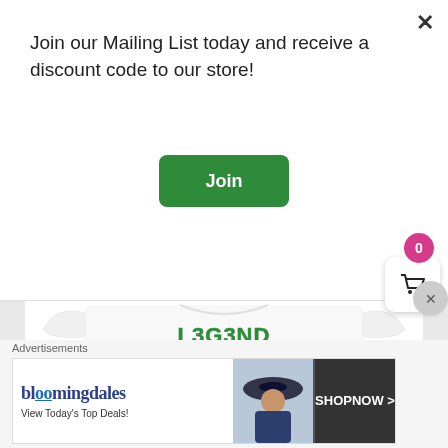Join our Mailing List today and receive a discount code to our store!
Join
[Figure (photo): White t-shirt with green 'L3G3ND' graphic featuring a basketball player illustration and achievement text including 'Hall of Fame', 'ROY', '1x NBA Champ', 'All-Rookie', '3x MVP', '1x All-NBA', '11x All-Star', '1x All-Defense', '1x Finals MVP', 'All-Star MVP']
Advertisements
[Figure (screenshot): Bloomingdale's advertisement banner showing logo, 'View Today's Top Deals!' text, a woman in a hat, and 'SHOP NOW >' button]